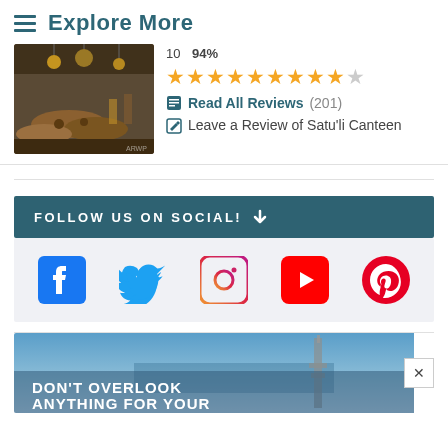≡ Explore More
10   94%
[Figure (photo): Interior restaurant photo showing rustic decor with wooden logs and hanging lights]
★★★★★★★★★☆ Read All Reviews (201) ✏ Leave a Review of Satu'li Canteen
FOLLOW US ON SOCIAL! ↓
[Figure (infographic): Social media icons row: Facebook, Twitter, Instagram, YouTube, Pinterest]
[Figure (photo): Promotional banner: DON'T OVERLOOK ANYTHING FOR YOUR with blue sky and tower silhouette background]